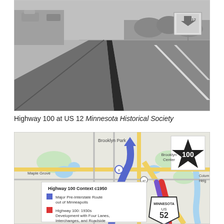[Figure (photo): Black and white photograph of Highway 100 at US 12, showing a wide multi-lane highway stretching into the distance with lane markings. Cars visible in upper left. Road signs visible on right side.]
Highway 100 at US 12 Minnesota Historical Society
[Figure (map): Color map showing Highway 100 Context c1950 in the Minneapolis/Brooklyn Park area. Includes legend showing: Major Pre-Interstate Route out of Minneapolis (blue), Highway 100: 1930s Development with Four Lanes, Interchanges, and Roadside. Map shows Brooklyn Park, Brooklyn Center, Maple Grove, Columbia Heights areas. Route 100 shield and US 52 shield visible.]